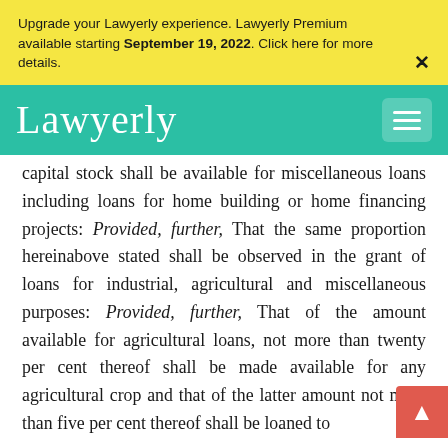Upgrade your Lawyerly experience. Lawyerly Premium available starting September 19, 2022. Click here for more details.
[Figure (logo): Lawyerly logo in white cursive script on teal/green navigation bar with hamburger menu icon]
capital stock shall be available for miscellaneous loans including loans for home building or home financing projects: Provided, further, That the same proportion hereinabove stated shall be observed in the grant of loans for industrial, agricultural and miscellaneous purposes: Provided, further, That of the amount available for agricultural loans, not more than twenty per cent thereof shall be made available for any agricultural crop and that of the latter amount not more than five per cent thereof shall be loaned to